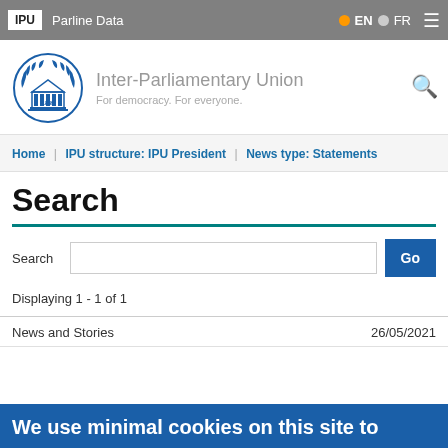IPU | Parline Data | EN | FR
[Figure (logo): Inter-Parliamentary Union logo with laurel wreath and parliament building, 1889]
Inter-Parliamentary Union
For democracy. For everyone.
Home | IPU structure: IPU President | News type: Statements
Search
Search [input field] Go
Displaying 1 - 1 of 1
News and Stories    26/05/2021
We use minimal cookies on this site to